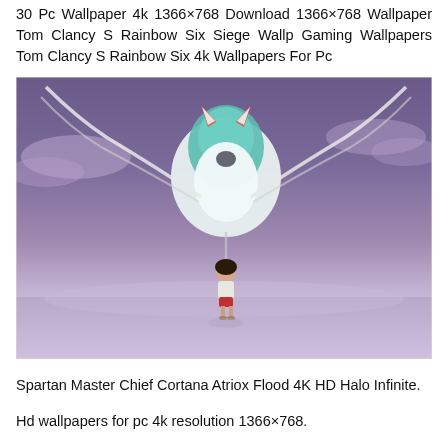30 Pc Wallpaper 4k 1366×768 Download 1366×768 Wallpaper Tom Clancy S Rainbow Six Siege Wallp Gaming Wallpapers Tom Clancy S Rainbow Six 4k Wallpapers For Pc
[Figure (illustration): Anime-style illustration showing a girl with dark hair standing on a reflective surface, facing a large white and teal creature above her, with a purple cloudy sky background.]
Spartan Master Chief Cortana Atriox Flood 4K HD Halo Infinite.
Hd wallpapers for pc 4k resolution 1366×768.